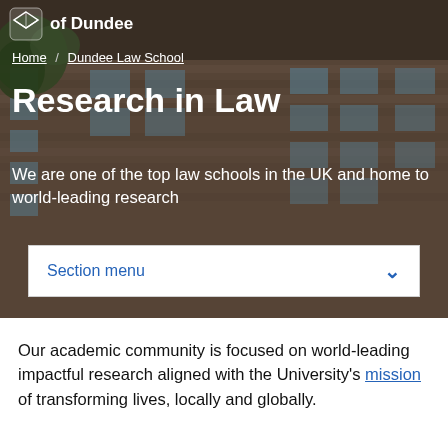of Dundee
Home / Dundee Law School
Research in Law
We are one of the top law schools in the UK and home to world-leading research
Section menu
Our academic community is focused on world-leading impactful research aligned with the University's mission of transforming lives, locally and globally.